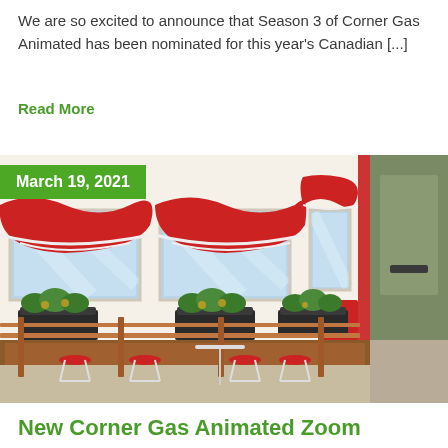We are so excited to announce that Season 3 of Corner Gas Animated has been nominated for this year's Canadian [...]
Read More
[Figure (illustration): Animated illustration of a building exterior (Corner Gas diner) with red and white striped awnings over windows, a wooden deck/patio with red bar stools and planter boxes with green plants, a red door, and a grey/olive colored door on the right side of the building.]
March 19, 2021
New Corner Gas Animated Zoom